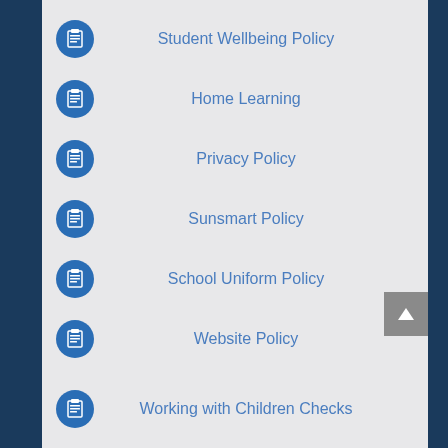Student Wellbeing Policy
Home Learning
Privacy Policy
Sunsmart Policy
School Uniform Policy
Website Policy
Working with Children Checks